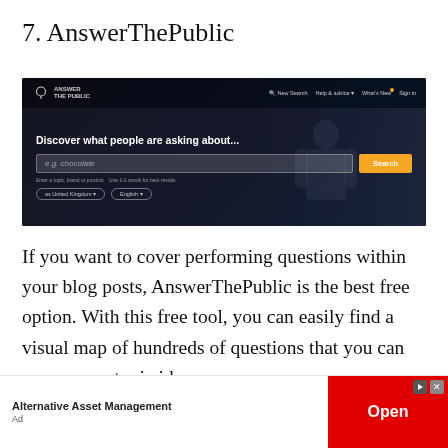7. AnswerThePublic
[Figure (screenshot): Screenshot of the AnswerThePublic website showing the headline 'Discover what people are asking about...' with a search bar, Search button, and United Kingdom / English dropdowns on a dark background with a person in a suit.]
If you want to cover performing questions within your blog posts, AnswerThePublic is the best free option. With this free tool, you can easily find a visual map of hundreds of questions that you can use as your topic ideas.
[Figure (other): Advertisement banner: 'Alternative Asset Management' with an Open button on red background]